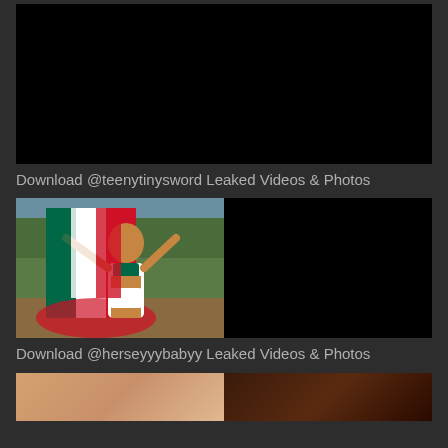[Figure (photo): Black/dark thumbnail composite image, first card top]
Download @teenytinysword Leaked Videos & Photos
[Figure (photo): Composite image: left half shows woman in bikini holding Mexican flag outdoors, right half is black thumbnail]
Download @herseyyybabyy Leaked Videos & Photos
[Figure (photo): Partial composite image at bottom, partially visible]